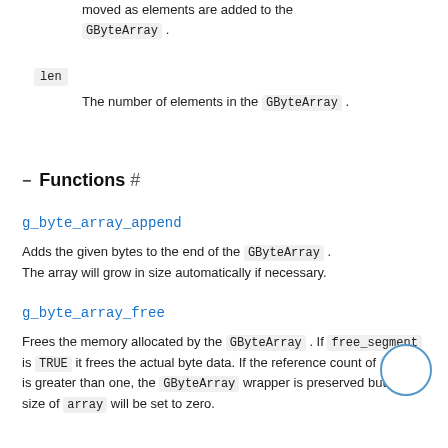moved as elements are added to the GByteArray.
len
The number of elements in the GByteArray.
Functions #
g_byte_array_append
Adds the given bytes to the end of the GByteArray. The array will grow in size automatically if necessary.
g_byte_array_free
Frees the memory allocated by the GByteArray. If free_segment is TRUE it frees the actual byte data. If the reference count of array is greater than one, the GByteArray wrapper is preserved but the size of array will be set to zero.